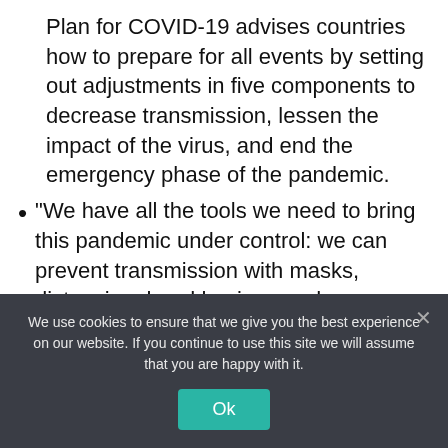Plan for COVID-19 advises countries how to prepare for all events by setting out adjustments in five components to decrease transmission, lessen the impact of the virus, and end the emergency phase of the pandemic.
“We have all the tools we need to bring this pandemic under control: we can prevent transmission with masks, distancing, hand hygiene and ventilation; And we can save lives by ensuring everyone has access to tests, treatments, and vaccines. Equitable
We use cookies to ensure that we give you the best experience on our website. If you continue to use this site we will assume that you are happy with it.